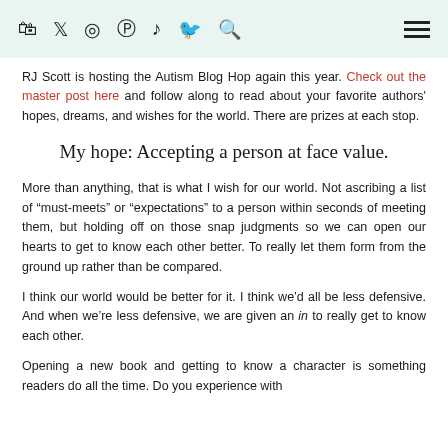icons: bag, twitter, instagram, pinterest, tiktok, facebook, search | hamburger menu
RJ Scott is hosting the Autism Blog Hop again this year. Check out the master post here and follow along to read about your favorite authors' hopes, dreams, and wishes for the world. There are prizes at each stop.
My hope: Accepting a person at face value.
More than anything, that is what I wish for our world. Not ascribing a list of “must-meets” or “expectations” to a person within seconds of meeting them, but holding off on those snap judgments so we can open our hearts to get to know each other better. To really let them form from the ground up rather than be compared.
I think our world would be better for it. I think we’d all be less defensive. And when we’re less defensive, we are given an in to really get to know each other.
Opening a new book and getting to know a character is something readers do all the time. Do you experience with